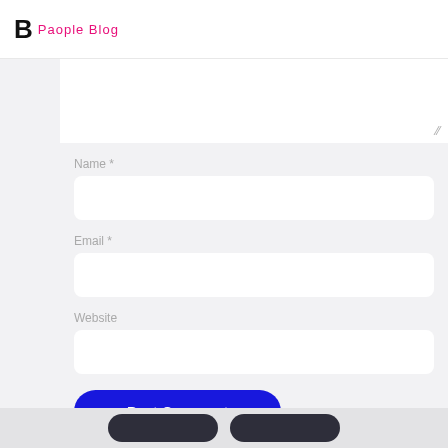B People Blog
[Figure (screenshot): Comment form with Name, Email, Website fields and Post Comment button on a light gray background]
Name *
Email *
Website
Post Comment